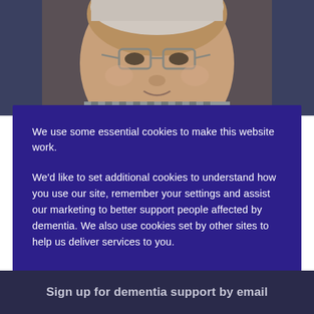[Figure (photo): Photo of an elderly man wearing glasses and a checkered shirt, partially visible at top of page]
We use some essential cookies to make this website work.
We'd like to set additional cookies to understand how you use our site, remember your settings and assist our marketing to better support people affected by dementia. We also use cookies set by other sites to help us deliver services to you.
Manage Cookies
Accept All Cookies
Sign up for dementia support by email